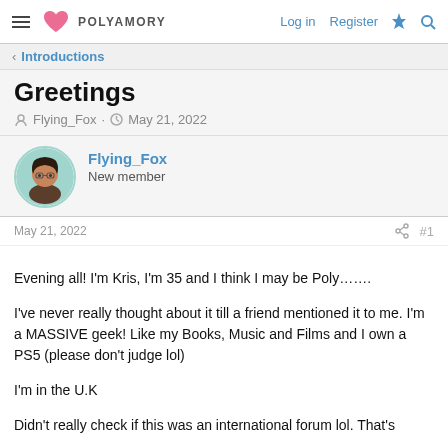POLYAMORY — Log in | Register
< Introductions
Greetings
Flying_Fox · May 21, 2022
Flying_Fox
New member
May 21, 2022  #1
Evening all! I'm Kris, I'm 35 and I think I may be Poly…….

I've never really thought about it till a friend mentioned it to me. I'm a MASSIVE geek! Like my Books, Music and Films and I own a PS5 (please don't judge lol)

I'm in the U.K

Didn't really check if this was an international forum lol. That's